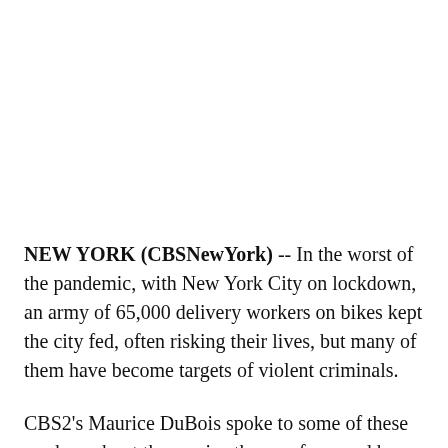NEW YORK (CBSNewYork) -- In the worst of the pandemic, with New York City on lockdown, an army of 65,000 delivery workers on bikes kept the city fed, often risking their lives, but many of them have become targets of violent criminals.
CBS2's Maurice DuBois spoke to some of these workers about the service they perform and how